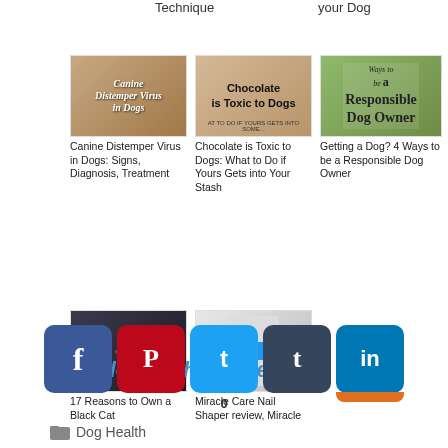Technique
your Dog
[Figure (photo): Canine Distemper Virus in Dogs article thumbnail showing a dog with white italic text overlay]
Canine Distemper Virus in Dogs: Signs, Diagnosis, Treatment
[Figure (photo): Chocolate is Toxic to Dogs article thumbnail showing a dog face close-up]
Chocolate is Toxic to Dogs: What to Do if Yours Gets into Your Stash
[Figure (photo): Getting a Dog? 4 Ways to be a Responsible Dog Owner thumbnail with dog on green background]
Getting a Dog? 4 Ways to be a Responsible Dog Owner
[Figure (photo): Three black cats sitting together, thumbnail for 17 Reasons to Own a Black Cat]
17 Reasons to Own a Black Cat
[Figure (photo): Hand holding a white cylinder with blue band, thumbnail for Miracle Care Nail Shaper review]
Miracle Care Nail Shaper review, Miracle
Please share the love.
0
Dog Health